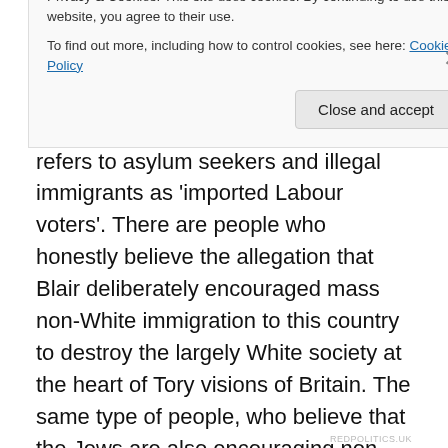extreme right-wing Tory types, who regard the Labour party as the enemies of Britain. The anti-immigrant YouTube channel, We Got A Problem, refers to asylum seekers and illegal immigrants as 'imported Labour voters'. There are people who honestly believe the allegation that Blair deliberately encouraged mass non-White immigration to this country to destroy the largely White society at the heart of Tory visions of Britain. The same type of people, who believe that the Jews are also encouraging non-White immigration to destroy the White race, the Kalergi plan and the Great Replacement. These
Privacy & Cookies: This site uses cookies. By continuing to use this website, you agree to their use.
To find out more, including how to control cookies, see here: Cookie Policy
Close and accept
REDPOLITICS.UK